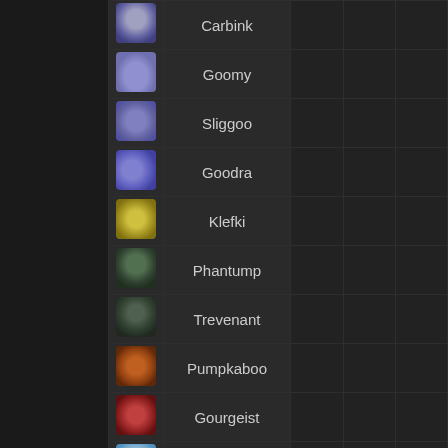| Icon | Name |  |  |  |
| --- | --- | --- | --- | --- |
| [carbink] | Carbink |  |  |  |
| [goomy] | Goomy |  |  |  |
| [sliggoo] | Sliggoo |  |  |  |
| [goodra] | Goodra |  |  |  |
| [klefki] | Klefki |  |  |  |
| [phantump] | Phantump |  |  |  |
| [trevenant] | Trevenant |  |  |  |
| [pumpkaboo] | Pumpkaboo |  |  |  |
| [gourgeist] | Gourgeist |  |  |  |
| [bergmite] | Bergmite |  |  |  |
| [avalugg] | Avalugg |  |  |  |
| [noibat] | Noibat |  |  |  |
| [noivern] | Noivern |  |  |  |
| [xerneas] | Xerneas |  |  |  |
| [yveltal] | Yveltal |  |  |  |
| [zygarde] | Zygarde |  |  |  |